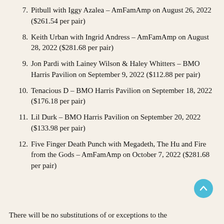7. Pitbull with Iggy Azalea – AmFamAmp on August 26, 2022 ($261.54 per pair)
8. Keith Urban with Ingrid Andress – AmFamAmp on August 28, 2022 ($281.68 per pair)
9. Jon Pardi with Lainey Wilson & Haley Whitters – BMO Harris Pavilion on September 9, 2022 ($112.88 per pair)
10. Tenacious D – BMO Harris Pavilion on September 18, 2022 ($176.18 per pair)
11. Lil Durk – BMO Harris Pavilion on September 20, 2022 ($133.98 per pair)
12. Five Finger Death Punch with Megadeth, The Hu and Fire from the Gods – AmFamAmp on October 7, 2022 ($281.68 per pair)
There will be no substitutions of or exceptions to the